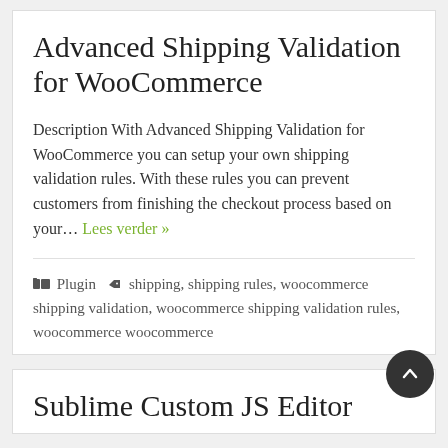Advanced Shipping Validation for WooCommerce
Description With Advanced Shipping Validation for WooCommerce you can setup your own shipping validation rules. With these rules you can prevent customers from finishing the checkout process based on your… Lees verder »
Plugin  shipping, shipping rules, woocommerce shipping validation, woocommerce shipping validation rules, woocommerce woocommerce
Sublime Custom JS Editor